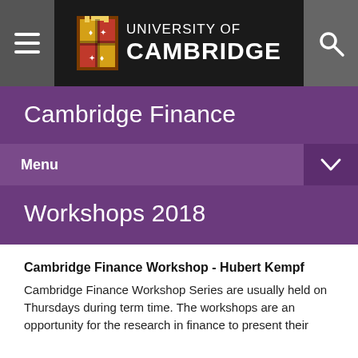UNIVERSITY OF CAMBRIDGE
Cambridge Finance
Menu
Workshops 2018
Cambridge Finance Workshop - Hubert Kempf
Cambridge Finance Workshop Series are usually held on Thursdays during term time. The workshops are an opportunity for the research in finance to present their